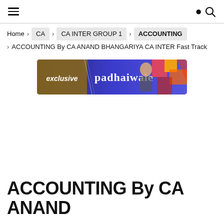≡  🔍
Home > CA > CA INTER GROUP 1 > ACCOUNTING > ACCOUNTING By CA ANAND BHANGARIYA CA INTER Fast Track
[Figure (illustration): Promotional banner for padhaiwale.com showing 'exclusive padhaiwale' text with colorful geometric background and a person's image]
ACCOUNTING By CA ANAND